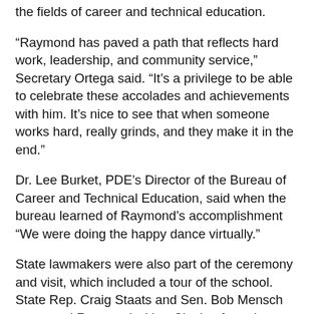the fields of career and technical education.
“Raymond has paved a path that reflects hard work, leadership, and community service,” Secretary Ortega said. “It’s a privilege to be able to celebrate these accolades and achievements with him. It’s nice to see that when someone works hard, really grinds, and they make it in the end.”
Dr. Lee Burket, PDE’s Director of the Bureau of Career and Technical Education, said when the bureau learned of Raymond’s accomplishment “We were doing the happy dance virtually.”
State lawmakers were also part of the ceremony and visit, which included a tour of the school. State Rep. Craig Staats and Sen. Bob Mensch presented Raymond with a Citation from the General Assembly.
Rep. Staats said he’s known the family, Raymond’s parents Ronald and Rachel, for some time. “I’m proud of Raymond, but we’re not surprised,” Rep. Staats said. “He’s a fine young man.”
Sen. Mensch said the common theme throughout the accolades was Raymond’s work ethic. “None of this happened on its own,” he said. “You have a mom and dad